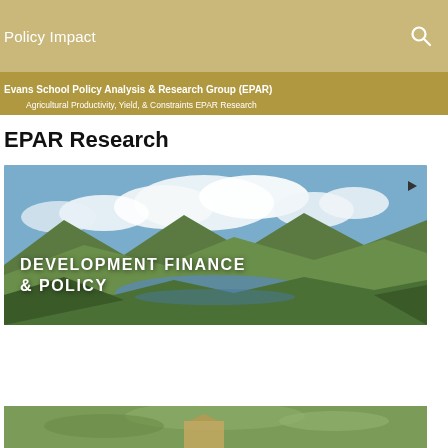Policy Impact
Evans School Policy Analysis & Research Group (EPAR)
Agricultural Productivity, Yield, & Constraints EPAR Research
EPAR Research
[Figure (photo): Landscape photo with mountains, green hills, a lake, and blue sky with clouds. Text overlay reads 'DEVELOPMENT FINANCE & POLICY' in white bold uppercase letters. A play button arrow is visible in the top right corner.]
[Figure (photo): Partial photo visible at bottom of page, appears to show agricultural/outdoor scene.]